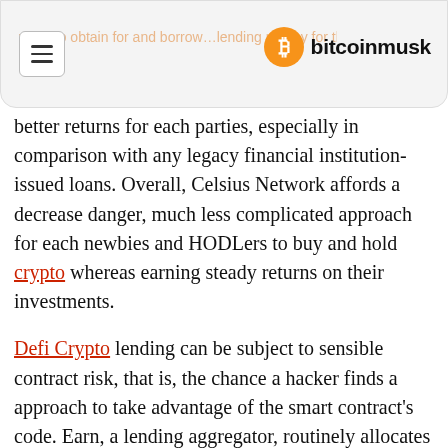bitcoinmusk
better returns for each parties, especially in comparison with any legacy financial institution-issued loans. Overall, Celsius Network affords a decrease danger, much less complicated approach for each newbies and HODLers to buy and hold crypto whereas earning steady returns on their investments.
Defi Crypto lending can be subject to sensible contract risk, that is, the chance a hacker finds a approach to take advantage of the smart contract's code. Earn, a lending aggregator, routinely allocates capital to completely different lending platforms primarily based on the curiosity fee offered. When they obtain a mortgage, they begin paying interest on it. Upon repayment of the mortgage, the collateral is robotically launched again to the borrower. First, both the lender and the borrower must agree to the phrases of the loan. Made common by the Ethereum blockchain, smart contract protocols play the position of the third-party